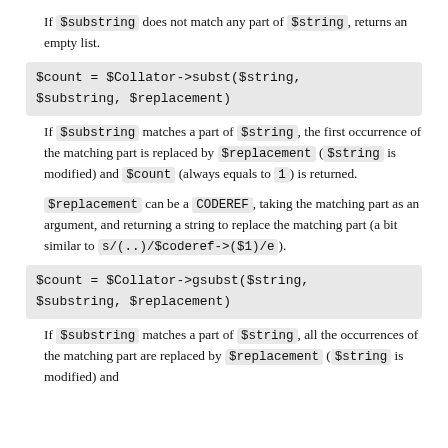If $substring does not match any part of $string, returns an empty list.
$count = $Collator->subst($string, $substring, $replacement)
If $substring matches a part of $string, the first occurrence of the matching part is replaced by $replacement ($string is modified) and $count (always equals to 1) is returned.
$replacement can be a CODEREF, taking the matching part as an argument, and returning a string to replace the matching part (a bit similar to s/(..)/\$coderef->(\$1)/e).
$count = $Collator->gsubst($string, $substring, $replacement)
If $substring matches a part of $string, all the occurrences of the matching part are replaced by $replacement ($string is modified) and